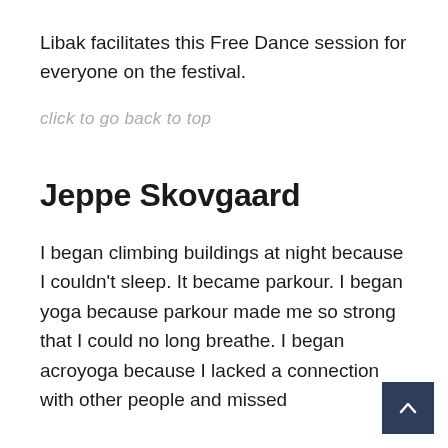Libak facilitates this Free Dance session for everyone on the festival.
click to go back to top
Jeppe Skovgaard
I began climbing buildings at night because I couldn't sleep. It became parkour. I began yoga because parkour made me so strong that I could no long breathe. I began acroyoga because I lacked a connection with other people and missed